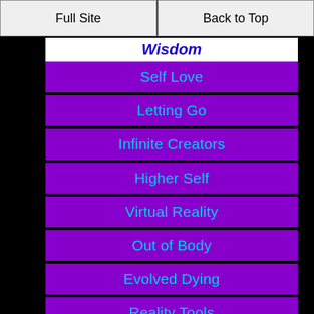Full Site | Back to Top
Wisdom
Self Love
Letting Go
Infinite Creators
Higher Self
Virtual Reality
Out of Body
Evolved Dying
Reality Tools
Infinite Ablilities
Infinite Possibilities
Self Healing
natural immunity
Hooponopono